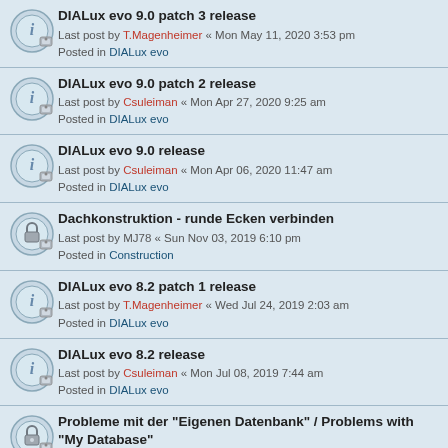DIALux evo 9.0 patch 3 release
Last post by T.Magenheimer « Mon May 11, 2020 3:53 pm
Posted in DIALux evo
DIALux evo 9.0 patch 2 release
Last post by Csuleiman « Mon Apr 27, 2020 9:25 am
Posted in DIALux evo
DIALux evo 9.0 release
Last post by Csuleiman « Mon Apr 06, 2020 11:47 am
Posted in DIALux evo
Dachkonstruktion - runde Ecken verbinden
Last post by MJ78 « Sun Nov 03, 2019 6:10 pm
Posted in Construction
DIALux evo 8.2 patch 1 release
Last post by T.Magenheimer « Wed Jul 24, 2019 2:03 am
Posted in DIALux evo
DIALux evo 8.2 release
Last post by Csuleiman « Mon Jul 08, 2019 7:44 am
Posted in DIALux evo
Probleme mit der "Eigenen Datenbank" / Problems with "My Database"
Last post by T.Magenheimer « Tue Apr 23, 2019 12:52 pm
Posted in FAQ
DIALux evo 8.1 patch 3 release
Last post by T.Magenheimer « Tue...